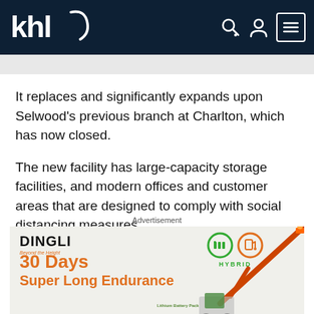KHL
It replaces and significantly expands upon Selwood’s previous branch at Charlton, which has now closed.
The new facility has large-capacity storage facilities, and modern offices and customer areas that are designed to comply with social distancing measures.
[Figure (illustration): Advertisement banner for Dingli featuring '30 Days Super Long Endurance' with hybrid battery/fuel icons and a crane/boom lift illustration with lithium battery pack label]